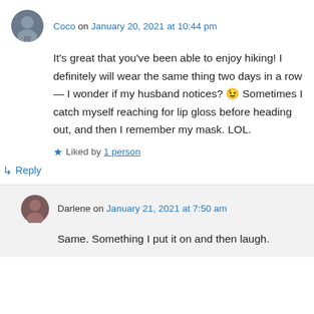Coco on January 20, 2021 at 10:44 pm
It's great that you've been able to enjoy hiking! I definitely will wear the same thing two days in a row — I wonder if my husband notices? 😉 Sometimes I catch myself reaching for lip gloss before heading out, and then I remember my mask. LOL.
★ Liked by 1 person
↳ Reply
Darlene on January 21, 2021 at 7:50 am
Same. Something I put it on and then laugh.